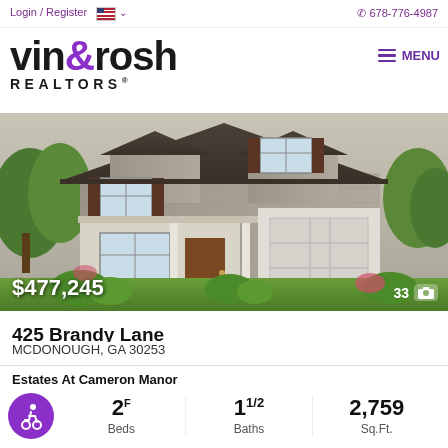Login / Register  🇺🇸 ∨  📞 678-776-4987
[Figure (logo): Vin & Rosh Realtors logo with purple ampersand and dot above i]
MENU
[Figure (photo): Two-story craftsman style home with stone facade, dark brown shutters, covered porch, and two-car garage. Landscaped front yard with green shrubs and trees.]
$477,245
33 📷
425 Brandy Lane
MCDONOUGH, GA 30253
Estates At Cameron Manor
2F 1 1/2 Baths
2,759 Sq.Ft.